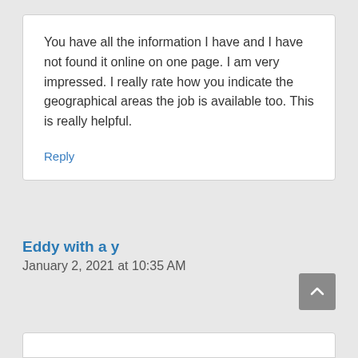You have all the information I have and I have not found it online on one page. I am very impressed. I really rate how you indicate the geographical areas the job is available too. This is really helpful.
Reply
Eddy with a y
January 2, 2021 at 10:35 AM